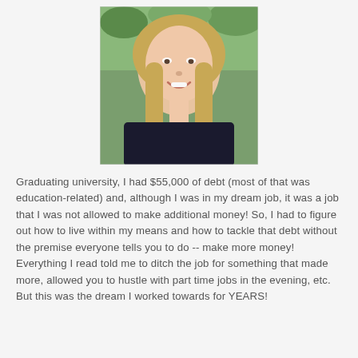[Figure (photo): Portrait photo of a young woman with long blonde hair, wearing a dark top, smiling, with greenery in the background]
Graduating university, I had $55,000 of debt (most of that was education-related) and, although I was in my dream job, it was a job that I was not allowed to make additional money! So, I had to figure out how to live within my means and how to tackle that debt without the premise everyone tells you to do -- make more money! Everything I read told me to ditch the job for something that made more, allowed you to hustle with part time jobs in the evening, etc. But this was the dream I worked towards for YEARS!